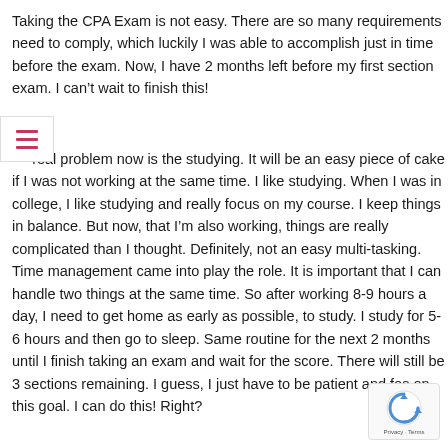Taking the CPA Exam is not easy. There are so many requirements need to comply, which luckily I was able to accomplish just in time before the exam. Now, I have 2 months left before my first section exam. I can't wait to finish this!
The real problem now is the studying. It will be an easy piece of cake if I was not working at the same time. I like studying. When I was in college, I like studying and really focus on my course. I keep things in balance. But now, that I'm also working, things are really complicated than I thought. Definitely, not an easy multi-tasking. Time management came into play the role. It is important that I can handle two things at the same time. So after working 8-9 hours a day, I need to get home as early as possible, to study. I study for 5-6 hours and then go to sleep. Same routine for the next 2 months until I finish taking an exam and wait for the score. There will still be 3 sections remaining. I guess, I just have to be patient and focus on this goal. I can do this! Right?